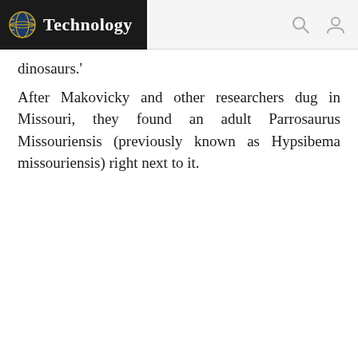Technology
dinosaurs.'
After Makovicky and other researchers dug in Missouri, they found an adult Parrosaurus Missouriensis (previously known as Hypsibema missouriensis) right next to it.